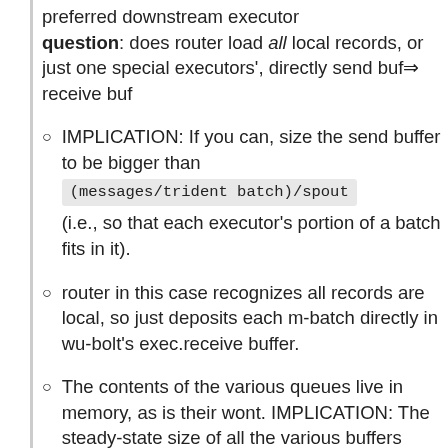preferred downstream executor question: does router load all local records, or just one special executors', directly send buf⇒ receive buf
IMPLICATION: If you can, size the send buffer to be bigger than (messages/trident batch)/spout (i.e., so that each executor's portion of a batch fits in it).
router in this case recognizes all records are local, so just deposits each m-batch directly in wu-bolt's exec.receive buffer.
The contents of the various queues live in memory, as is their wont. IMPLICATION: The steady-state size of all the various buffers should fit in an